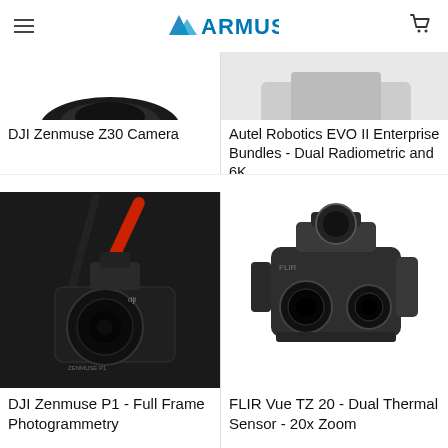ARMUS
[Figure (photo): Partial view of DJI Zenmuse Z30 Camera from top, cut off at page top]
DJI Zenmuse Z30 Camera
[Figure (photo): Partial view of Autel Robotics EVO II Enterprise Bundles product, cut off at page top, gray background]
Autel Robotics EVO II Enterprise Bundles - Dual Radiometric and 6K
[Figure (photo): DJI Zenmuse P1 camera mounted on gimbal with red and black tripod legs, dark background]
DJI Zenmuse P1 - Full Frame Photogrammetry
[Figure (photo): FLIR Vue TZ 20 dual thermal sensor camera with 20x zoom on white background]
FLIR Vue TZ 20 - Dual Thermal Sensor - 20x Zoom